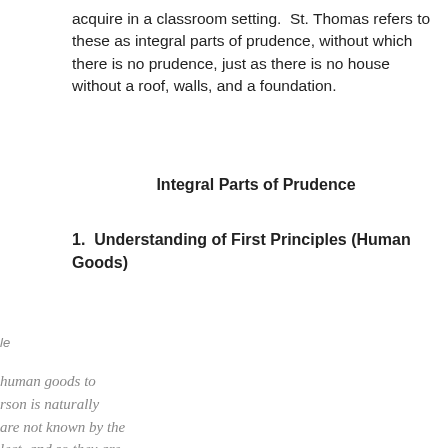acquire in a classroom setting. St. Thomas refers to these as integral parts of prudence, without which there is no prudence, just as there is no house without a roof, walls, and a foundation.
Integral Parts of Prudence
1.  Understanding of First Principles (Human Goods)
le
human goods to rson is naturally are not known by the lect, and so they are e appetite, but he rational appetite), ble goods, but